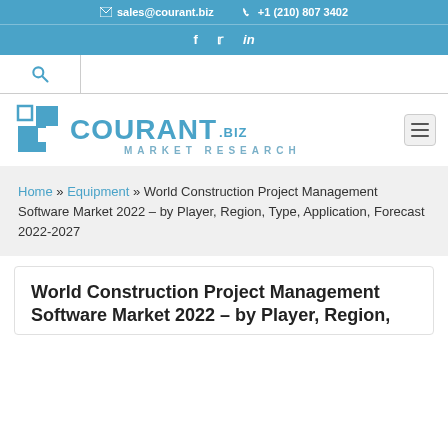✉ sales@courant.biz   ☎ +1 (210) 807 3402
f  t  in
[Figure (logo): Courant.biz Market Research logo with blue geometric squares icon]
Home » Equipment » World Construction Project Management Software Market 2022 – by Player, Region, Type, Application, Forecast 2022-2027
World Construction Project Management Software Market 2022 – by Player, Region,